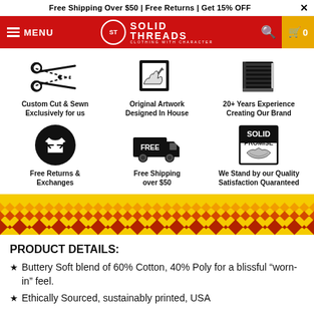Free Shipping Over $50 | Free Returns | Get 15% OFF
[Figure (screenshot): Solid Threads website navigation bar with red background, hamburger menu, logo, search icon, and cart showing 0]
[Figure (infographic): Six feature icons in 2-row, 3-column grid: Custom Cut & Sewn Exclusively for us (scissors icon), Original Artwork Designed In House (hand writing icon), 20+ Years Experience Creating Our Brand (book icon), Free Returns & Exchanges (t-shirt exchange icon), Free Shipping over $50 (truck with FREE icon), We Stand by our Quality Satisfaction Quaranteed (Solid Promise handshake badge)]
[Figure (illustration): Colorful chevron/zigzag pattern banner in yellow, orange, and red colors]
PRODUCT DETAILS:
Buttery Soft blend of 60% Cotton, 40% Poly for a blissful "worn-in" feel.
Ethically Sourced, sustainably printed, USA